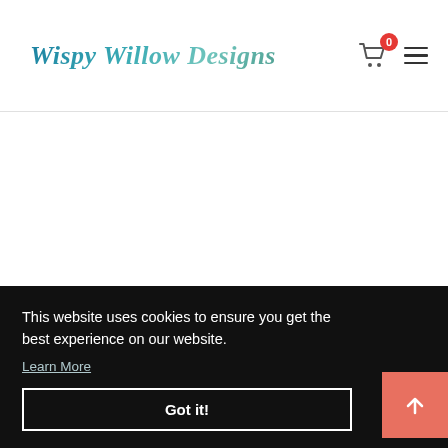Wispy Willow Designs
[Figure (screenshot): White empty content area between header and cookie banner]
This website uses cookies to ensure you get the best experience on our website.
Learn More
Got it!